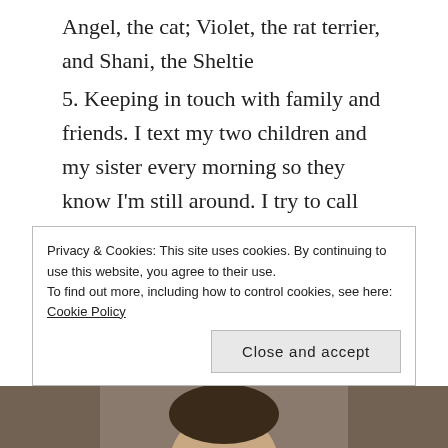Angel, the cat; Violet, the rat terrier, and Shani, the Sheltie
5. Keeping in touch with family and friends. I text my two children and my sister every morning so they know I'm still around. I try to call my sister who lives in Colorado daily. I chat with my kids weekly but send them many strange messages by text throughout the day. I have a friend in Wyoming who writes long esoteric essays on the meaning of life that I look forward to reading and responding to, and much to my amazement I have found Facebook to be a place of much humor and little politics.
Privacy & Cookies: This site uses cookies. By continuing to use this website, you agree to their use.
To find out more, including how to control cookies, see here: Cookie Policy
Close and accept
[Figure (photo): Bottom strip showing partial photo of a person smiling]